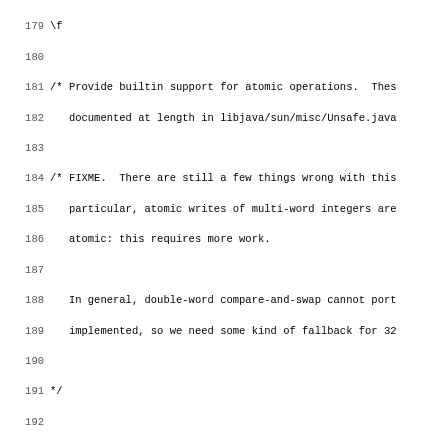Source code listing lines 179-210 showing C code with comments about atomic operations, UNMARSHAL3 macro definition, and related tree argument handling.